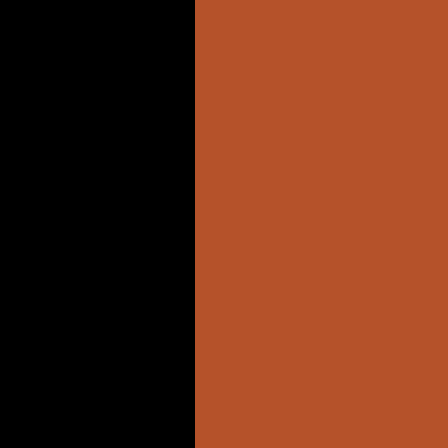[Figure (photo): A page with a dark black background on the left edge, a large terracotta/burnt orange panel in the center-left, and a dark brown vertical strip on the right side containing white text reading: 'the treasures of Oak Bluff. : Our current mare pedigrees and breeding program includes RL BEST OF SUDDEN']
the treasures of Oak Bluff. : Our current mare pedigrees and breeding program includes RL BEST OF SUDDEN